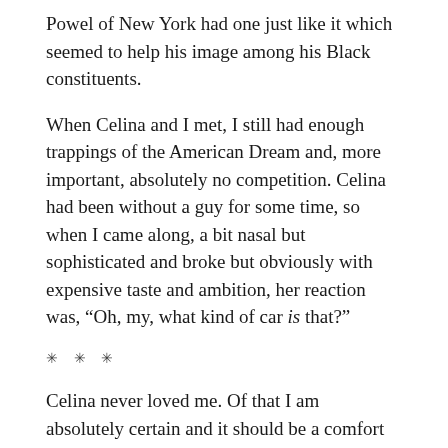Powel of New York had one just like it which seemed to help his image among his Black constituents.
When Celina and I met, I still had enough trappings of the American Dream and, more important, absolutely no competition. Celina had been without a guy for some time, so when I came along, a bit nasal but sophisticated and broke but obviously with expensive taste and ambition, her reaction was, “Oh, my, what kind of car is that?”
* * *
Celina never loved me. Of that I am absolutely certain and it should be a comfort to her husband now. But I loved her so much that I got some of it back on the inhale, causing her to think she liked me more than she really did. She was a bit narcissistic, and I was her adoring Mirror on the Wall.